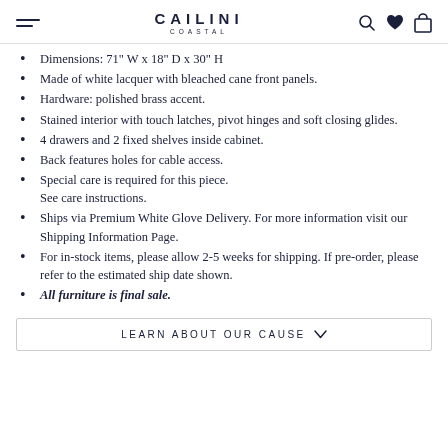CAILINI COASTAL
Dimensions: 71" W x 18" D x 30" H
Made of white lacquer with bleached cane front panels.
Hardware: polished brass accent.
Stained interior with touch latches, pivot hinges and soft closing glides.
4 drawers and 2 fixed shelves inside cabinet.
Back features holes for cable access.
Special care is required for this piece. See care instructions.
Ships via Premium White Glove Delivery. For more information visit our Shipping Information Page.
For in-stock items, please allow 2-5 weeks for shipping. If pre-order, please refer to the estimated ship date shown.
All furniture is final sale.
LEARN ABOUT OUR CAUSE